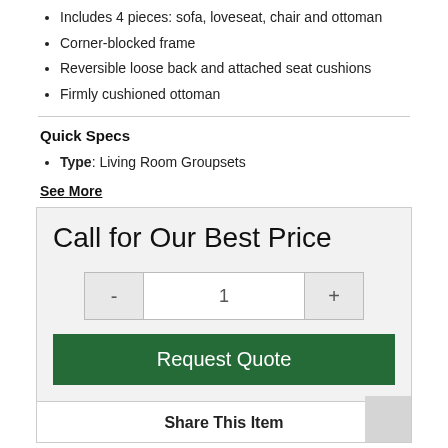Includes 4 pieces: sofa, loveseat, chair and ottoman
Corner-blocked frame
Reversible loose back and attached seat cushions
Firmly cushioned ottoman
Quick Specs
Type: Living Room Groupsets
See More
Call for Our Best Price
1
Request Quote
Share This Item